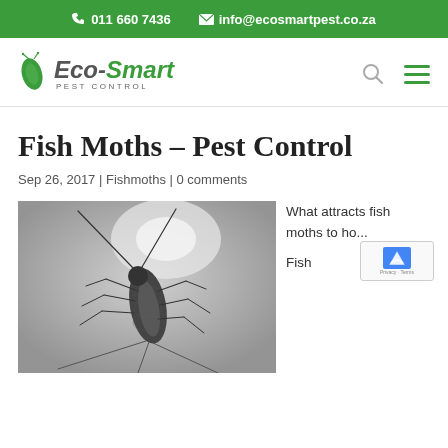011 660 7436   info@ecosmartpest.co.za
[Figure (logo): Eco-Smart Pest Control logo with green leaf/bug icon and italic green text]
Fish Moths – Pest Control
Sep 26, 2017 | Fishmoths | 0 comments
[Figure (photo): Close-up photograph of a silverfish (fish moth) insect on a grey surface, with long antennae visible]
What attracts fish moths to ho... Fish